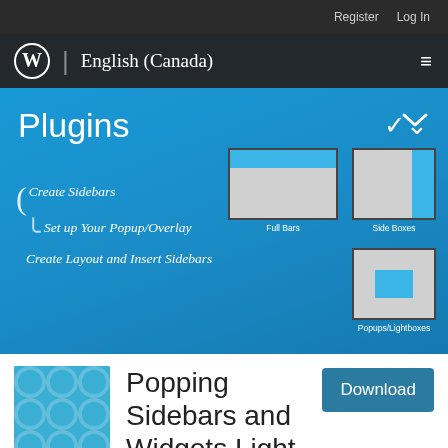Register  Log In
English (Canada)
Plugins
Create Sidebars
Set up Your Popup/Overlay
Create Layout and Insert Sidebars
[Figure (screenshot): Three layout diagram icons: Full Bars (header bar across top), Side Boxes (vertical sidebar on right), Popups/Lightboxes (centered floating box)]
[Figure (illustration): Plugin icon with blue background and pattern]
Popping Sidebars and Widgets Light
Download